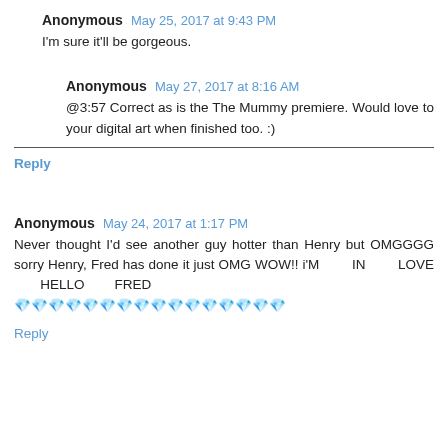Anonymous  May 25, 2017 at 9:43 PM
I'm sure it'll be gorgeous.
Anonymous  May 27, 2017 at 8:16 AM
@3:57 Correct as is the The Mummy premiere. Would love to your digital art when finished too. :)
Reply
Anonymous  May 24, 2017 at 1:17 PM
Never thought I'd see another guy hotter than Henry but OMGGGG sorry Henry, Fred has done it just OMG WOW!! i'M IN LOVE HELLO FRED ????????????????
Reply